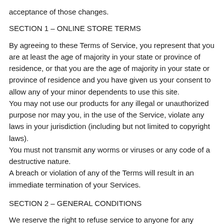acceptance of those changes.
SECTION 1 – ONLINE STORE TERMS
By agreeing to these Terms of Service, you represent that you are at least the age of majority in your state or province of residence, or that you are the age of majority in your state or province of residence and you have given us your consent to allow any of your minor dependents to use this site.
You may not use our products for any illegal or unauthorized purpose nor may you, in the use of the Service, violate any laws in your jurisdiction (including but not limited to copyright laws).
You must not transmit any worms or viruses or any code of a destructive nature.
A breach or violation of any of the Terms will result in an immediate termination of your Services.
SECTION 2 – GENERAL CONDITIONS
We reserve the right to refuse service to anyone for any reason at any time.
You understand that your content (not including credit card